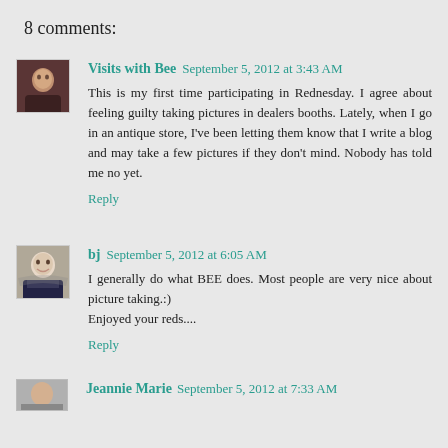8 comments:
Visits with Bee  September 5, 2012 at 3:43 AM
This is my first time participating in Rednesday. I agree about feeling guilty taking pictures in dealers booths. Lately, when I go in an antique store, I've been letting them know that I write a blog and may take a few pictures if they don't mind. Nobody has told me no yet.
Reply
bj  September 5, 2012 at 6:05 AM
I generally do what BEE does. Most people are very nice about picture taking.:)
Enjoyed your reds....
Reply
Jeannie Marie  September 5, 2012 at 7:33 AM